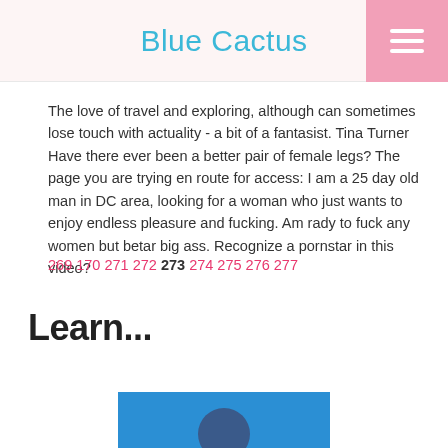Blue Cactus
The love of travel and exploring, although can sometimes lose touch with actuality - a bit of a fantasist. Tina Turner Have there ever been a better pair of female legs? The page you are trying en route for access: I am a 25 day old man in DC area, looking for a woman who just wants to enjoy endless pleasure and fucking. Am rady to fuck any women but betar big ass. Recognize a pornstar in this video?
269 270 271 272 273 274 275 276 277
Learn...
[Figure (photo): Blue background image with partial circular shape at the bottom, cropped at the page edge]